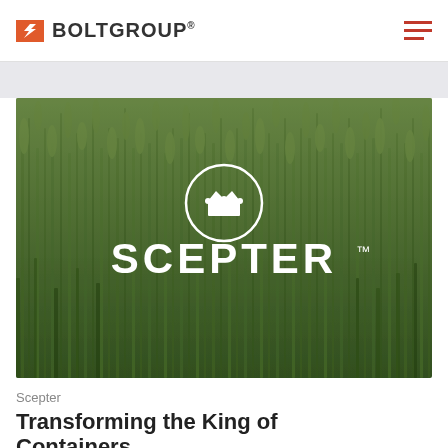BOLTGROUP®
[Figure (photo): Green wheat/grain field background with Scepter brand logo (crown icon in circle above white bold text reading SCEPTER with trademark symbol)]
Scepter
Transforming the King of Containers